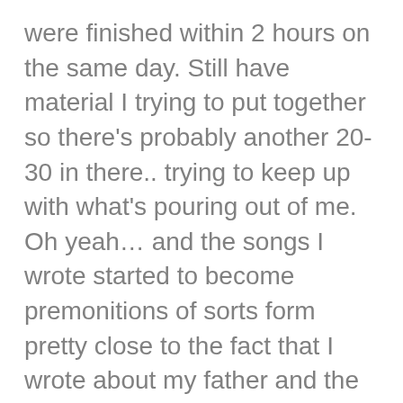were finished within 2 hours on the same day. Still have material I trying to put together so there's probably another 20-30 in there.. trying to keep up with what's pouring out of me. Oh yeah… and the songs I wrote started to become premonitions of sorts form pretty close to the fact that I wrote about my father and the next day speaking with my brother-in-law about what was going on and that my writing was manifesting… my father text that he was thinking about us after not speaking to him for 2 years.
There is probably more that I can't think of at the moment but this is probably long enough. You mentioned that it might help someone with their symptoms and I know it was pretty damn intense in the beginning so why I ultimately posted… well that's another